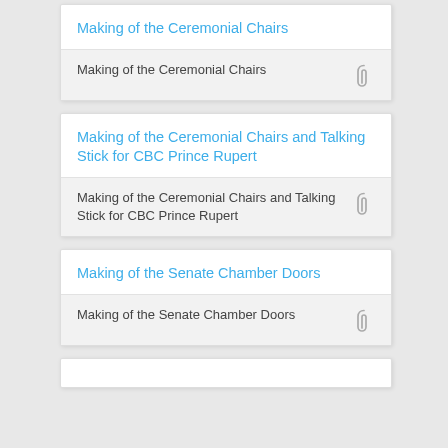Making of the Ceremonial Chairs
Making of the Ceremonial Chairs
Making of the Ceremonial Chairs and Talking Stick for CBC Prince Rupert
Making of the Ceremonial Chairs and Talking Stick for CBC Prince Rupert
Making of the Senate Chamber Doors
Making of the Senate Chamber Doors